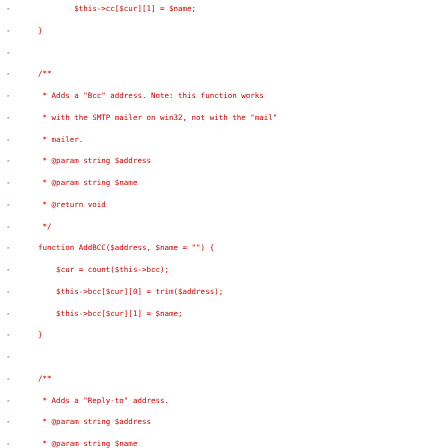[Figure (screenshot): Code diff snippet showing PHP class methods AddBCC and AddReplyTo with red minus-sign lines indicating removed/changed code in a diff view. Also shows start of MAIL SENDING METHODS section.]